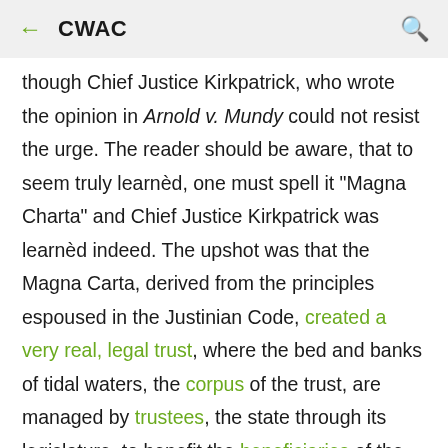← CWAC
though Chief Justice Kirkpatrick, who wrote the opinion in Arnold v. Mundy could not resist the urge. The reader should be aware, that to seem truly learnèd, one must spell it "Magna Charta" and Chief Justice Kirkpatrick was learnèd indeed. The upshot was that the Magna Carta, derived from the principles espoused in the Justinian Code, created a very real, legal trust, where the bed and banks of tidal waters, the corpus of the trust, are managed by trustees, the state through its legislature, to benefit the beneficiaries of the trust, the people of the state. This trusteeship passed from the Roman Empire to the British Crown to the New Jersey